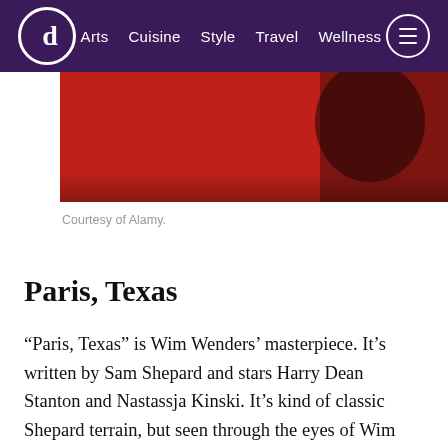Arts  Cuisine  Style  Travel  Wellness
[Figure (photo): Cropped photo showing a person wearing a bright red top, partially visible against a light background, upper portion of frame]
Courtesy of Alamy.
Paris, Texas
“Paris, Texas” is Wim Wenders’ masterpiece. It’s written by Sam Shepard and stars Harry Dean Stanton and Nastassja Kinski. It’s kind of classic Shepard terrain, but seen through the eyes of Wim Wenders, who’s more of a poet-scientist than a filmmaker. The way the camera just adores both the characters and the landscape, the way it celebrates both the language and the